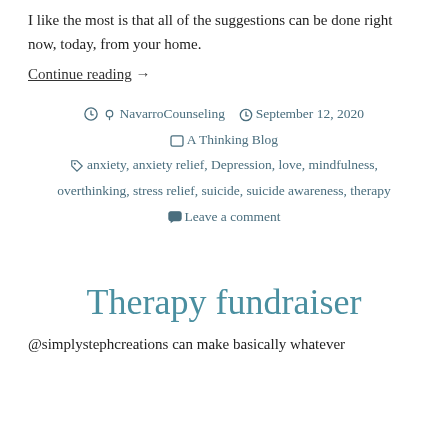I like the most is that all of the suggestions can be done right now, today, from your home.
Continue reading →
NavarroCounseling  September 12, 2020  A Thinking Blog  anxiety, anxiety relief, Depression, love, mindfulness, overthinking, stress relief, suicide, suicide awareness, therapy  Leave a comment
Therapy fundraiser
@simplystephcreations can make basically whatever